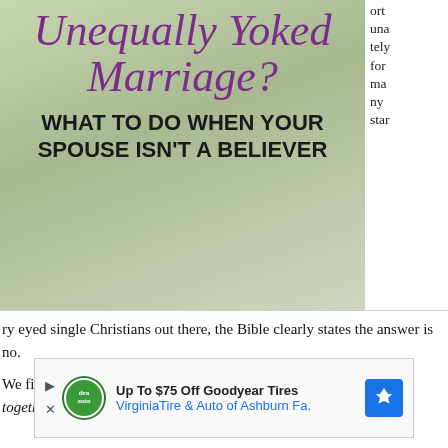[Figure (illustration): Book or blog cover image with purple cursive text 'Unequally Yoked Marriage?' and bold black text 'WHAT TO DO WHEN YOUR SPOUSE ISN'T A BELIEVER' over a green background]
ort una tely for ma ny star
ry eyed single Christians out there, the Bible clearly states the answer is no.
We find this in 2 Corinthians 6:14a, which reads, "Do not be yoked together with unbelievers."
[Figure (other): Advertisement: Up To $75 Off Goodyear Tires - Virginia Tire & Auto of Ashburn Fa.]